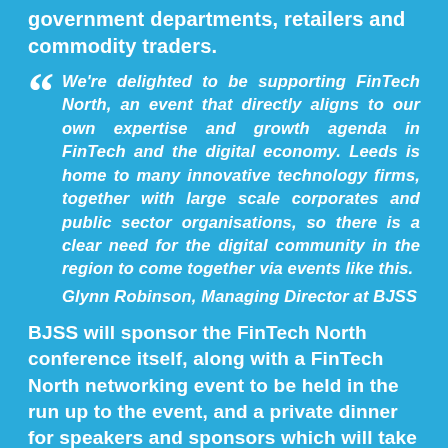government departments, retailers and commodity traders.
"We're delighted to be supporting FinTech North, an event that directly aligns to our own expertise and growth agenda in FinTech and the digital economy. Leeds is home to many innovative technology firms, together with large scale corporates and public sector organisations, so there is a clear need for the digital community in the region to come together via events like this. Glynn Robinson, Managing Director at BJSS
BJSS will sponsor the FinTech North conference itself, along with a FinTech North networking event to be held in the run up to the event, and a private dinner for speakers and sponsors which will take place the evening before the conference.